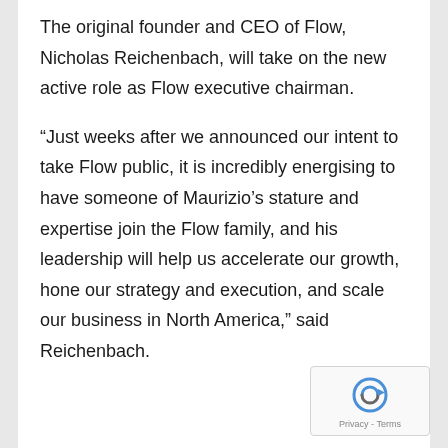The original founder and CEO of Flow, Nicholas Reichenbach, will take on the new active role as Flow executive chairman.
“Just weeks after we announced our intent to take Flow public, it is incredibly energising to have someone of Maurizio’s stature and expertise join the Flow family, and his leadership will help us accelerate our growth, hone our strategy and execution, and scale our business in North America,” said Reichenbach.